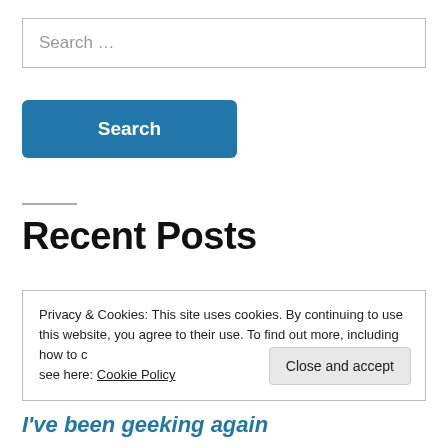Search …
Search
Recent Posts
Privacy & Cookies: This site uses cookies. By continuing to use this website, you agree to their use. To find out more, including how to control cookies, see here: Cookie Policy
Close and accept
I've been geeking again